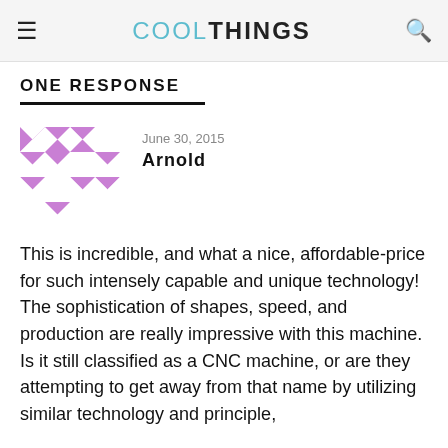COOLTHINGS
ONE RESPONSE
[Figure (illustration): Purple geometric/kaleidoscope avatar icon for user Arnold]
June 30, 2015
Arnold
This is incredible, and what a nice, affordable-price for such intensely capable and unique technology! The sophistication of shapes, speed, and production are really impressive with this machine. Is it still classified as a CNC machine, or are they attempting to get away from that name by utilizing similar technology and principle, but with the...